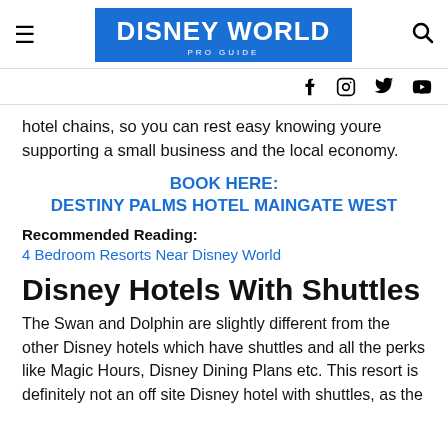DISNEY WORLD PRO GUIDE
hotel chains, so you can rest easy knowing youre supporting a small business and the local economy.
BOOK HERE: DESTINY PALMS HOTEL MAINGATE WEST
Recommended Reading:
4 Bedroom Resorts Near Disney World
Disney Hotels With Shuttles
The Swan and Dolphin are slightly different from the other Disney hotels which have shuttles and all the perks like Magic Hours, Disney Dining Plans etc. This resort is definitely not an off site Disney hotel with shuttles, as the